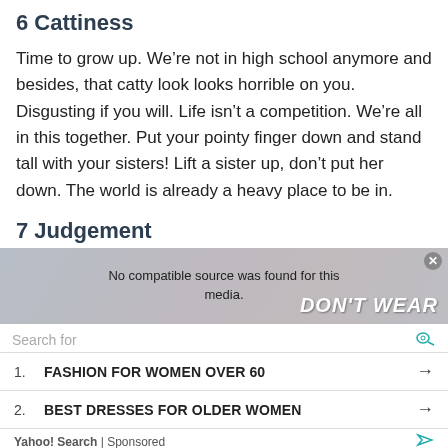6 Cattiness
Time to grow up. We’re not in high school anymore and besides, that catty look looks horrible on you. Disgusting if you will. Life isn’t a competition. We’re all in this together. Put your pointy finger down and stand tall with your sisters! Lift a sister up, don’t put her down. The world is already a heavy place to be in.
7 Judgement
[Figure (screenshot): Video player overlay showing 'No compatible source was found for this media.' with a blurred background image and 'DON'T WEAR' text visible.]
Search for
1. FASHION FOR WOMEN OVER 60
2. BEST DRESSES FOR OLDER WOMEN
Yahoo! Search | Sponsored